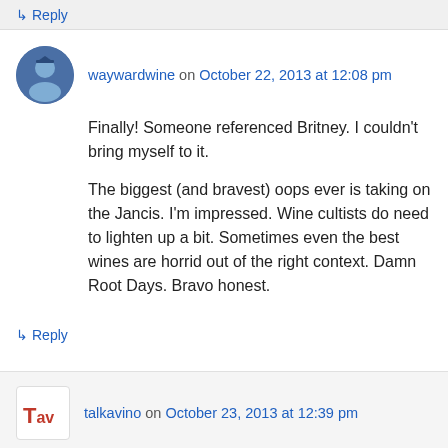↳ Reply
waywardwine on October 22, 2013 at 12:08 pm
Finally! Someone referenced Britney. I couldn't bring myself to it.
The biggest (and bravest) oops ever is taking on the Jancis. I'm impressed. Wine cultists do need to lighten up a bit. Sometimes even the best wines are horrid out of the right context. Damn Root Days. Bravo honest.
↳ Reply
talkavino on October 23, 2013 at 12:39 pm